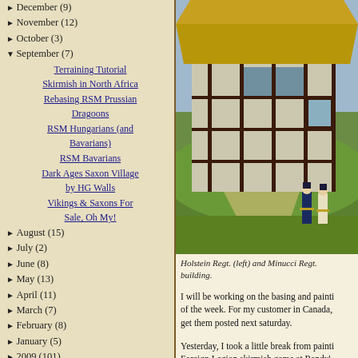► December (9)
► November (12)
► October (3)
▼ September (7)
Terraining Tutorial
Skirmish in North Africa
Rebasing RSM Prussian Dragoons
RSM Hungarians (and Bavarians)
RSM Bavarians
Dark Ages Saxon Village by HG Walls
Vikings & Saxons For Sale, Oh My!
► August (15)
► July (2)
► June (8)
► May (13)
► April (11)
► March (7)
► February (8)
► January (5)
► 2009 (101)
► 2008 (100)
[Figure (photo): Photo of a scale model thatched half-timbered building with miniature soldiers (Holstein Regt. and Minucci Regt.) on a green grass base.]
Holstein Regt. (left) and Minucci Regt. building.
I will be working on the basing and painting of the week. For my customer in Canada, get them posted next saturday.
Yesterday, I took a little break from painting Foreign Legion skirmish game at Randy's players and we had a great time. I will p